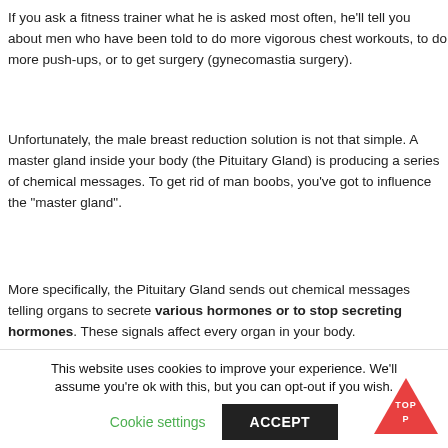If you ask a fitness trainer what he is asked most often, he'll tell you about men who have been told to do more vigorous chest workouts, to do more push-ups, or to get surgery (gynecomastia surgery).
Unfortunately, the male breast reduction solution is not that simple. A master gland inside your body (the Pituitary Gland) is producing a series of chemical messages. To get rid of man boobs, you've got to influence the "master gland".
More specifically, the Pituitary Gland sends out chemical messages telling organs to secrete various hormones or to stop secreting hormones. These signals affect every organ in your body.
[Figure (infographic): Partially visible infographic showing words FATIGUE (vertical, purple), MEN (horizontal, dark), OID (vertical, dark), INSUFFI... GLUC... (teal/purple, partially cut off)]
This website uses cookies to improve your experience. We'll assume you're ok with this, but you can opt-out if you wish.
Cookie settings   ACCEPT